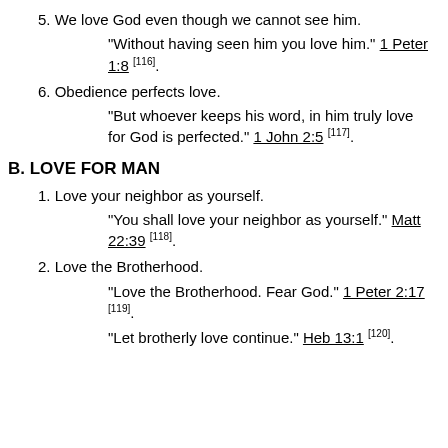5. We love God even though we cannot see him.
“Without having seen him you love him.” 1 Peter 1:8 [116].
6. Obedience perfects love.
“But whoever keeps his word, in him truly love for God is perfected.” 1 John 2:5 [117].
B. LOVE FOR MAN
1. Love your neighbor as yourself.
“You shall love your neighbor as yourself.” Matt 22:39 [118].
2. Love the Brotherhood.
“Love the Brotherhood. Fear God.” 1 Peter 2:17 [119].
“Let brotherly love continue.” Heb 13:1 [120].